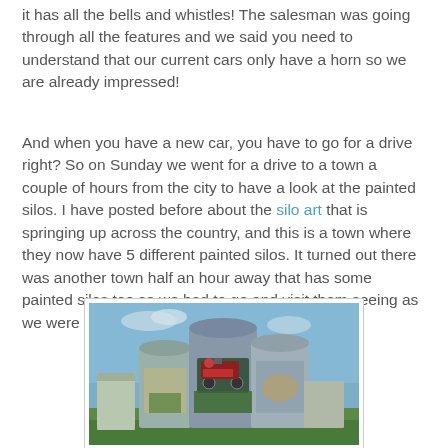it has all the bells and whistles! The salesman was going through all the features and we said you need to understand that our current cars only have a horn so we are already impressed!
And when you have a new car, you have to go for a drive right? So on Sunday we went for a drive to a town a couple of hours from the city to have a look at the painted silos. I have posted before about the silo art that is springing up across the country, and this is a town where they now have 5 different painted silos. It turned out there was another town half an hour away that has some painted silos too so we had to go and visit them seeing as we were so close!
[Figure (photo): Photo of large painted grain silos with murals including a steam train painted on them, set against a blue sky]